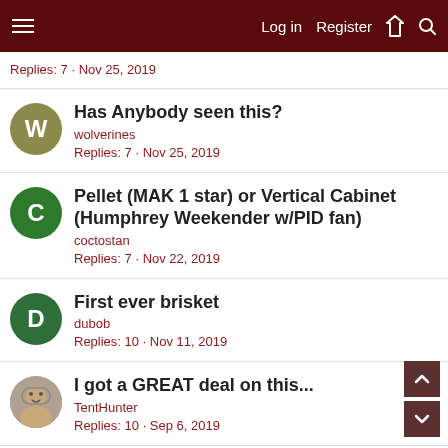Log in  Register
Replies: 7 · Nov 25, 2019
Has Anybody seen this?
wolverines
Replies: 7 · Nov 25, 2019
Pellet (MAK 1 star) or Vertical Cabinet (Humphrey Weekender w/PID fan)
coctostan
Replies: 7 · Nov 22, 2019
First ever brisket
dubob
Replies: 10 · Nov 11, 2019
I got a GREAT deal on this...
TentHunter
Replies: 10 · Sep 6, 2019